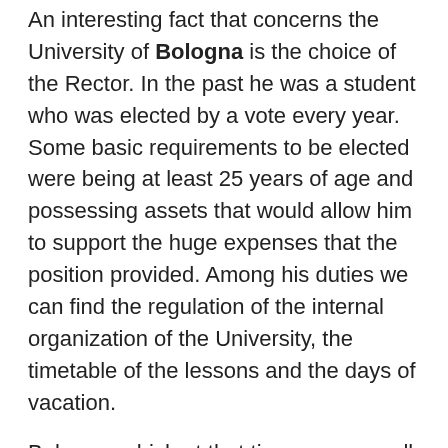An interesting fact that concerns the University of Bologna is the choice of the Rector. In the past he was a student who was elected by a vote every year. Some basic requirements to be elected were being at least 25 years of age and possessing assets that would allow him to support the huge expenses that the position provided. Among his duties we can find the regulation of the internal organization of the University, the timetable of the lessons and the days of vacation.
Bologna, which at that time was a small city, soon faced the housing problem due to the large number of merchants, pilgrims and now students and academics who began to attend university.
The Studium of Bologna was also very renowned in the world. Foreign students often gathered in groups according to the country they belonged to and stayed